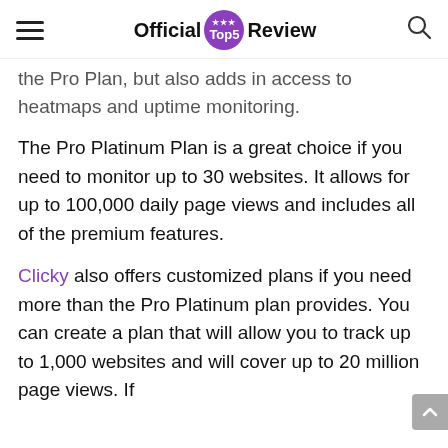Official Top5 Review
the Pro Plan, but also adds in access to heatmaps and uptime monitoring.
The Pro Platinum Plan is a great choice if you need to monitor up to 30 websites. It allows for up to 100,000 daily page views and includes all of the premium features.
Clicky also offers customized plans if you need more than the Pro Platinum plan provides. You can create a plan that will allow you to track up to 1,000 websites and will cover up to 20 million page views. If